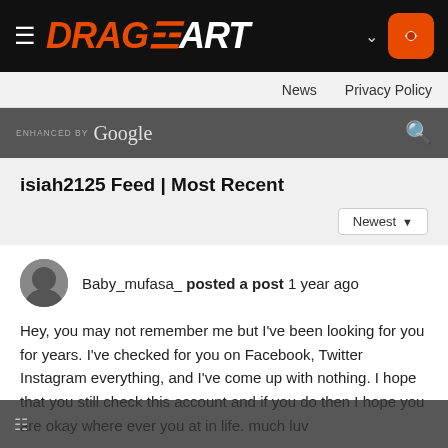DRAGOART
News  Privacy Policy
ENHANCED BY Google
isiah2125 Feed | Most Recent
Baby_mufasa_ posted a post 1 year ago
Hey, you may not remember me but I've been looking for you for years. I've checked for you on Facebook, Twitter Instagram everything, and I've come up with nothing. I hope that you still check this account and if you do then I hope you are okay where ever you at in life. much luv